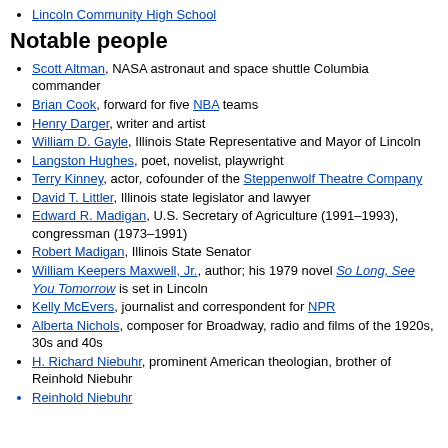Lincoln Community High School
Notable people
Scott Altman, NASA astronaut and space shuttle Columbia commander
Brian Cook, forward for five NBA teams
Henry Darger, writer and artist
William D. Gayle, Illinois State Representative and Mayor of Lincoln
Langston Hughes, poet, novelist, playwright
Terry Kinney, actor, cofounder of the Steppenwolf Theatre Company
David T. Littler, Illinois state legislator and lawyer
Edward R. Madigan, U.S. Secretary of Agriculture (1991–1993), congressman (1973–1991)
Robert Madigan, Illinois State Senator
William Keepers Maxwell, Jr., author; his 1979 novel So Long, See You Tomorrow is set in Lincoln
Kelly McEvers, journalist and correspondent for NPR
Alberta Nichols, composer for Broadway, radio and films of the 1920s, 30s and 40s
H. Richard Niebuhr, prominent American theologian, brother of Reinhold Niebuhr